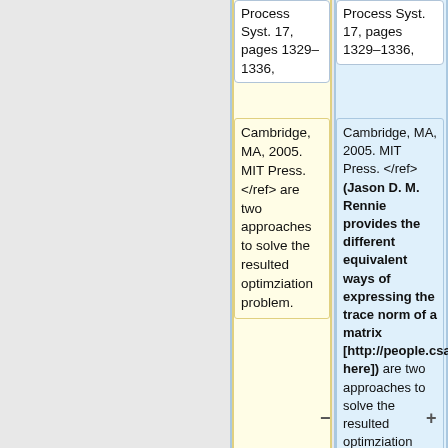Process Syst. 17, pages 1329–1336,
Process Syst. 17, pages 1329–1336,
Cambridge, MA, 2005. MIT Press. </ref> are two approaches to solve the resulted optimziation problem.
Cambridge, MA, 2005. MIT Press. </ref> (Jason D. M. Rennie provides the different equivalent ways of expressing the trace norm of a matrix [http://people.csail.mit.edu/jrennie/writing/traceEquivalence.pdf here]) are two approaches to solve the resulted optimziation problem.